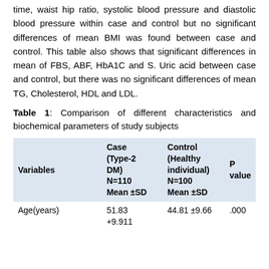time, waist hip ratio, systolic blood pressure and diastolic blood pressure within case and control but no significant differences of mean BMI was found between case and control. This table also shows that significant differences in mean of FBS, ABF, HbA1C and S. Uric acid between case and control, but there was no significant differences of mean TG, Cholesterol, HDL and LDL.
Table 1: Comparison of different characteristics and biochemical parameters of study subjects
| Variables | Case (Type-2 DM) N=110 Mean ±SD | Control (Healthy individual) N=100 Mean ±SD | P value |
| --- | --- | --- | --- |
| Age(years) | 51.83
+9.911 | 44.81 ±9.66 | .000 |